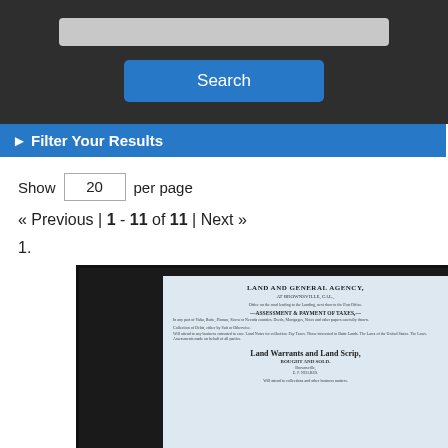[Figure (screenshot): Dark top bar with a gray search input field and a blue Search button]
▶ Filter Your Results
Show 20 per page
« Previous | 1 - 11 of 11 | Next »
1.
[Figure (photo): Thumbnail image of a historical document titled 'LAND AND GENERAL AGENCY' with sections about Assessment & Payment of Taxes, Collection of Debts, Land Warrants and Land Scrip, Authority and Means]